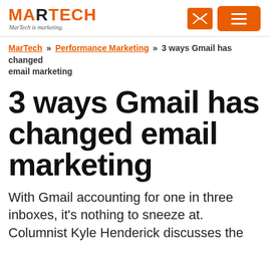MARTECH — MarTech is marketing.
MarTech » Performance Marketing » 3 ways Gmail has changed email marketing
3 ways Gmail has changed email marketing
With Gmail accounting for one in three inboxes, it's nothing to sneeze at. Columnist Kyle Henderick discusses the